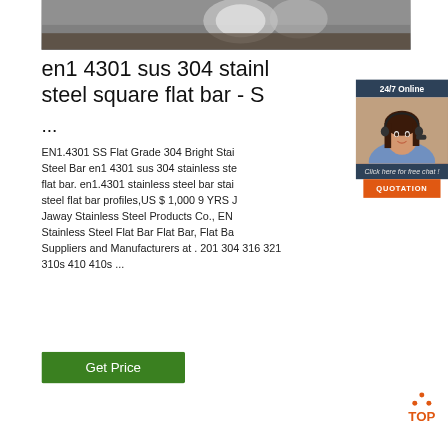[Figure (photo): Top portion of a product photo showing stainless steel flat bars on a surface, partially visible at top of page]
en1 4301 sus 304 stainless steel square flat bar - S...
...
EN1.4301 SS Flat Grade 304 Bright Stainless Steel Bar en1 4301 sus 304 stainless steel flat bar. en1.4301 stainless steel bar stainless steel flat bar profiles,US $ 1,000 9 YRS Jaway Stainless Steel Products Co., EN Stainless Steel Flat Bar Flat Bar, Flat Bar Suppliers and Manufacturers at . 201 304 316 321 310s 410 410s ...
[Figure (photo): Customer service chat widget overlay showing a woman with headset and 24/7 Online chat option with QUOTATION button]
[Figure (logo): Orange TOP button logo with dots arranged in triangle shape]